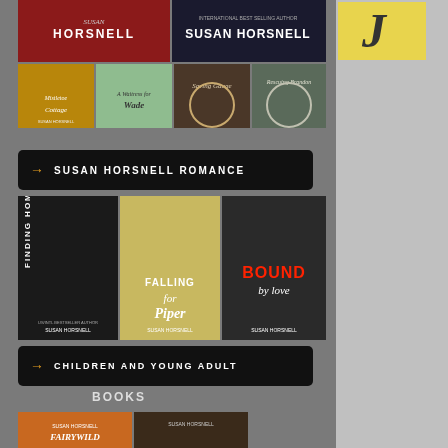[Figure (illustration): Grid of book covers by Susan Horsnell - top row two wide covers (historical/western western), second row four smaller covers including Mistletoe Cottage, A Waitress for Wade, Saving Gauge, Rescuing Brandon]
SUSAN HORSNELL ROMANCE
[Figure (illustration): Three romance novel covers: Finding Home, Falling for Piper, Bound by Love by Susan Horsnell]
CHILDREN AND YOUNG ADULT
BOOKS
[Figure (illustration): Two children/YA book covers by Susan Horsnell, including Fairywild]
[Figure (logo): Decorative letter J logo in italic script on yellow background]